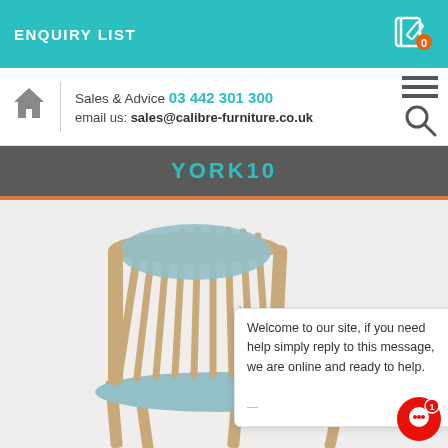ENQUIRY LIST
Sales & Advice 03 442 301 300
email us: sales@calibre-furniture.co.uk
YORK10
[Figure (photo): Wooden armchair with light blue upholstered seat and back cushions, spindle back design, viewed from rear three-quarter angle]
Welcome to our site, if you need help simply reply to this message, we are online and ready to help.